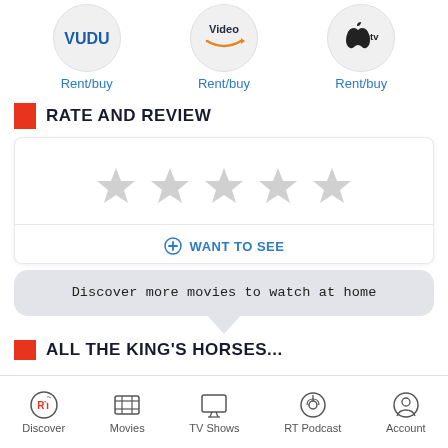[Figure (infographic): Three streaming service icons (VUDU, Amazon Video, Apple TV) each in a circle, each labeled Rent/buy in blue text]
RATE AND REVIEW
[Figure (infographic): Rating card with 5 empty grey stars and a blue circle-plus WANT TO SEE button]
Discover more movies to watch at home
Discover | Movies | TV Shows | RT Podcast | Account